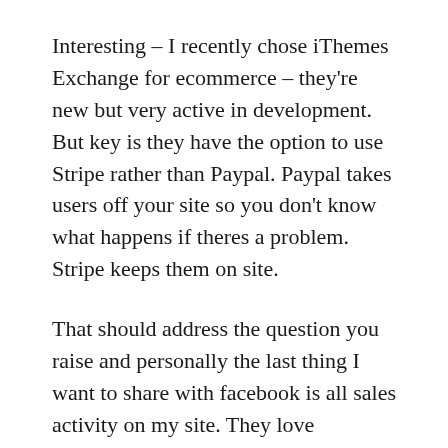Interesting – I recently chose iThemes Exchange for ecommerce – they're new but very active in development. But key is they have the option to use Stripe rather than Paypal. Paypal takes users off your site so you don't know what happens if theres a problem. Stripe keeps them on site.
That should address the question you raise and personally the last thing I want to share with facebook is all sales activity on my site. They love collecting that stuff because they can sell it to 3rd parties and it can give them insight on